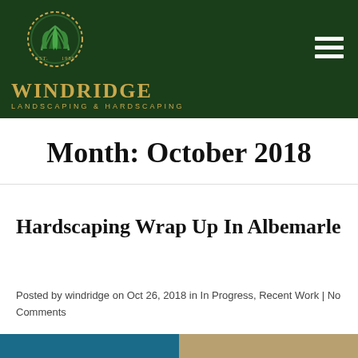[Figure (logo): Windridge Landscaping & Hardscaping logo with circular green emblem, gold leaf design, and gold text. EST. 1989.]
Month: October 2018
Hardscaping Wrap Up In Albemarle
Posted by windridge on Oct 26, 2018 in In Progress, Recent Work | No Comments
[Figure (photo): Bottom image strip showing partial photos of landscaping/hardscaping work]